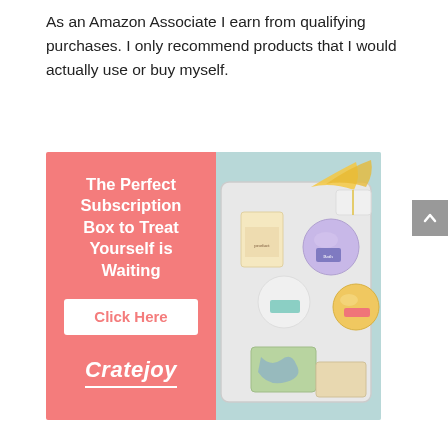As an Amazon Associate I earn from qualifying purchases. I only recommend products that I would actually use or buy myself.
[Figure (infographic): Cratejoy advertisement banner. Left side has a coral/salmon pink background with white bold text: 'The Perfect Subscription Box to Treat Yourself is Waiting', a white button with coral text 'Click Here', and the Cratejoy logo in cursive white. Right side shows a photo of a bath products gift tray with bath bombs, soaps, and other items.]